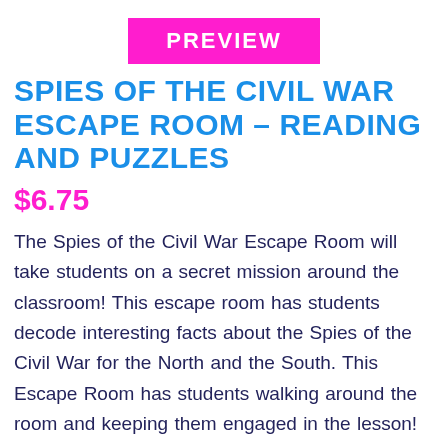[Figure (other): Pink/magenta rectangular banner with white bold text reading PREVIEW]
SPIES OF THE CIVIL WAR ESCAPE ROOM – READING AND PUZZLES
$6.75
The Spies of the Civil War Escape Room will take students on a secret mission around the classroom! This escape room has students decode interesting facts about the Spies of the Civil War for the North and the South. This Escape Room has students walking around the room and keeping them engaged in the lesson!